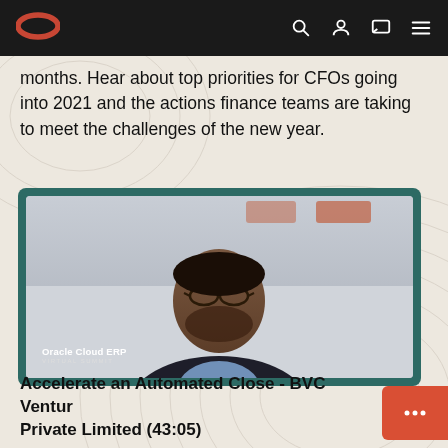Oracle (logo) | navigation icons
months. Hear about top priorities for CFOs going into 2021 and the actions finance teams are taking to meet the challenges of the new year.
[Figure (screenshot): Video screenshot showing a man in a dark blazer and glasses speaking at what appears to be an Oracle Cloud ERP Virtual Summit. The video frame shows 'Oracle Cloud ERP VIRTUAL SUMMIT' text in the lower left corner. The background has a teal/dark green border around the video frame.]
Accelerate an Automated Close - BVC Ventur Private Limited (43:05)